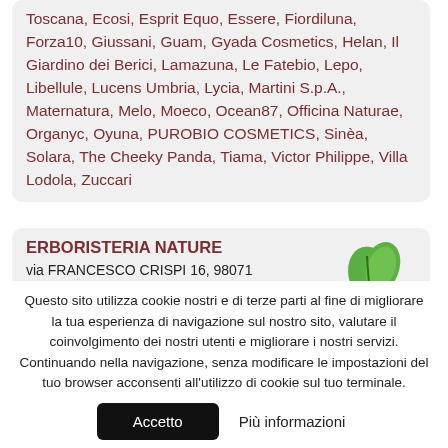Toscana, Ecosi, Esprit Equo, Essere, Fiordiluna, Forza10, Giussani, Guam, Gyada Cosmetics, Helan, Il Giardino dei Berici, Lamazuna, Le Fatebio, Lepo, Libellule, Lucens Umbria, Lycia, Martini S.p.A., Maternatura, Melo, Moeco, Ocean87, Officina Naturae, Organyc, Oyuna, PUROBIO COSMETICS, Sinèa, Solara, The Cheeky Panda, Tiama, Victor Philippe, Villa Lodola, Zuccari
ERBORISTERIA NATURE
via FRANCESCO CRISPI 16, 98071
capo d'orlando (me)
Telefono: 3388425709
Mail: enricocaruso4@gmail.com
[Figure (logo): Green leaf logo for Erboristeria Nature]
Questo sito utilizza cookie nostri e di terze parti al fine di migliorare la tua esperienza di navigazione sul nostro sito, valutare il coinvolgimento dei nostri utenti e migliorare i nostri servizi. Continuando nella navigazione, senza modificare le impostazioni del tuo browser acconsenti all'utilizzo di cookie sul tuo terminale.
Accetto  Più informazioni